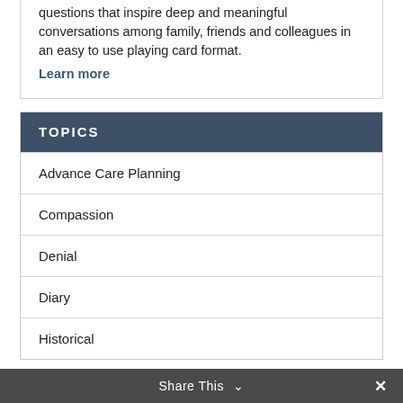Talking Death cards provide you with engaging questions that inspire deep and meaningful conversations among family, friends and colleagues in an easy to use playing card format. Learn more
TOPICS
Advance Care Planning
Compassion
Denial
Diary
Historical
Share This ∨  ✕